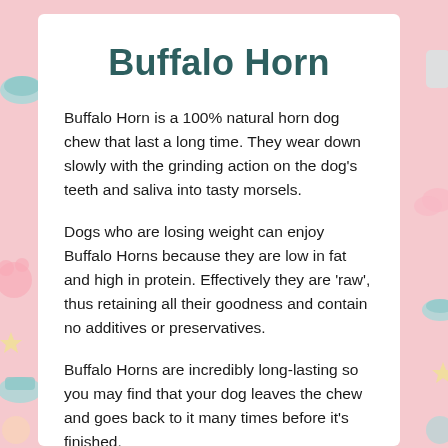Buffalo Horn
Buffalo Horn is a 100% natural horn dog chew that last a long time. They wear down slowly with the grinding action on the dog's teeth and saliva into tasty morsels.
Dogs who are losing weight can enjoy Buffalo Horns because they are low in fat and high in protein. Effectively they are 'raw', thus retaining all their goodness and contain no additives or preservatives.
Buffalo Horns are incredibly long-lasting so you may find that your dog leaves the chew and goes back to it many times before it's finished.